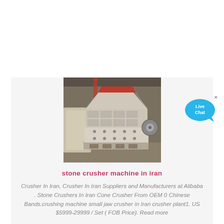[Figure (photo): Photo of a stone crusher machine in a warehouse/factory setting. The machine is large, white/beige colored with a red interior hopper opening at the top and multiple square panel doors on the body.]
stone crusher machine in iran
Crusher In Iran, Crusher In Iran Suppliers and Manufacturers at Alibaba . Stone Crushers In Iran Cone Crusher From OEM 0 Chinese Bands.crushing machine small jaw crusher in Iran crusher plant1. US $5999-29999 / Set ( FOB Price). Read more
Mais detalhes